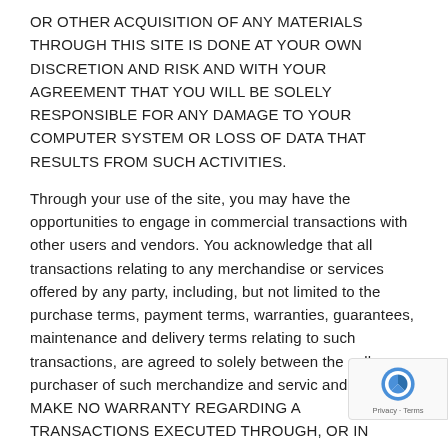OR OTHER ACQUISITION OF ANY MATERIALS THROUGH THIS SITE IS DONE AT YOUR OWN DISCRETION AND RISK AND WITH YOUR AGREEMENT THAT YOU WILL BE SOLELY RESPONSIBLE FOR ANY DAMAGE TO YOUR COMPUTER SYSTEM OR LOSS OF DATA THAT RESULTS FROM SUCH ACTIVITIES.
Through your use of the site, you may have the opportunities to engage in commercial transactions with other users and vendors. You acknowledge that all transactions relating to any merchandise or services offered by any party, including, but not limited to the purchase terms, payment terms, warranties, guarantees, maintenance and delivery terms relating to such transactions, are agreed to solely between the seller or purchaser of such merchandize and servic and you. WE MAKE NO WARRANTY REGARDING A TRANSACTIONS EXECUTED THROUGH, OR IN